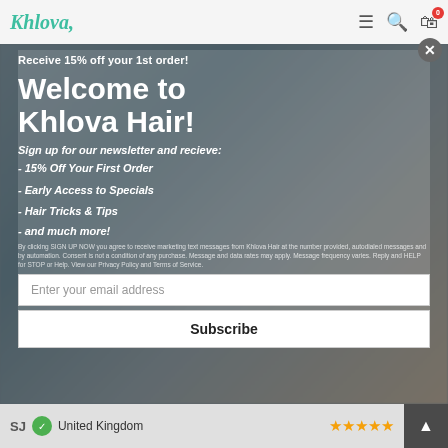[Figure (screenshot): Khlova Hair website header with logo and navigation icons (hamburger menu, search, cart with badge '0')]
[Figure (screenshot): Modal popup overlay on Khlova Hair website showing newsletter signup with welcome message, bullet list of benefits, fine print, email input field, and Subscribe button]
Welcome to Khlova Hair!
Receive 15% off your 1st order!
Sign up for our newsletter and recieve:
- 15% Off Your First Order
- Early Access to Specials
- Hair Tricks & Tips
- and much more!
By clicking SIGN UP NOW you agree to receive marketing text messages from Khlova Hair at the number provided, autodialed messages and by automation. Consent is not a condition of any purchase. Message and data rates may apply. Message frequency varies. Reply and HELP for STOP or Help. View our Privacy Policy and Terms of Service.
Enter your email address
Subscribe
SJ  United Kingdom  ★★★★★